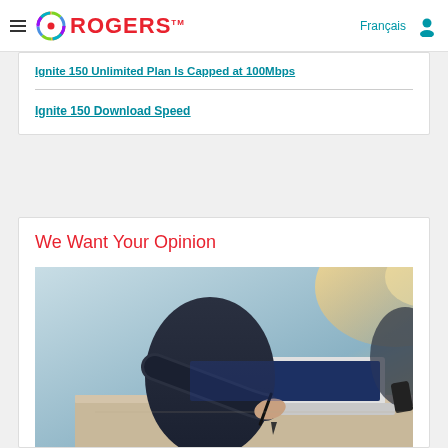Rogers - Français
Ignite 150 Unlimited Plan Is Capped at 100Mbps
Ignite 150 Download Speed
We Want Your Opinion
[Figure (photo): Person writing/using a stylus on a tablet or laptop, business setting, sunlit background]